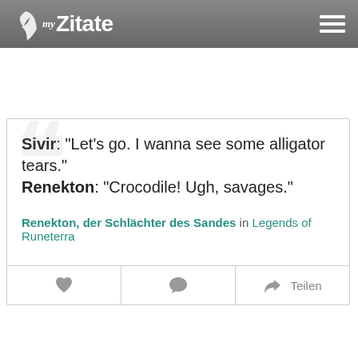myZitate
Sivir: "Let's go. I wanna see some alligator tears."
Renekton: "Crocodile! Ugh, savages."
Renekton, der Schlächter des Sandes in Legends of Runeterra